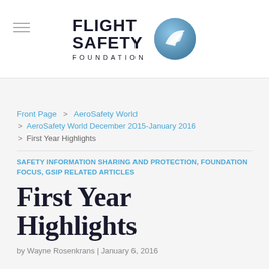[Figure (logo): Flight Safety Foundation logo with circular emblem and text reading FLIGHT SAFETY FOUNDATION]
Front Page  >  AeroSafety World
>  AeroSafety World December 2015-January 2016
>  First Year Highlights
SAFETY INFORMATION SHARING AND PROTECTION, FOUNDATION FOCUS, GSIP RELATED ARTICLES
First Year Highlights
by Wayne Rosenkrans | January 6, 2016